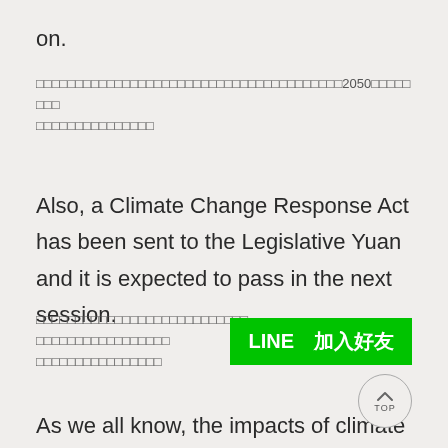on.
（CJK text block with 2050 reference）
Also, a Climate Change Response Act has been sent to the Legislative Yuan and it is expected to pass in the next session.
（CJK text block）
[Figure (other): LINE 加入好友 green badge button]
[Figure (other): TOP scroll-to-top circular button]
As we all know, the impacts of climate chang